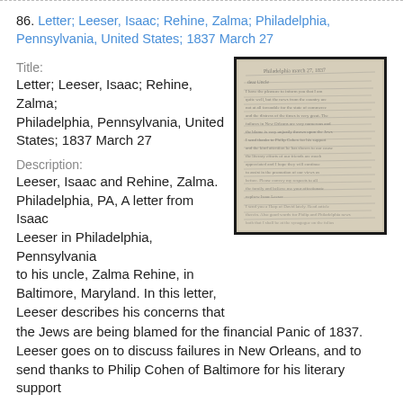86. Letter; Leeser, Isaac; Rehine, Zalma; Philadelphia, Pennsylvania, United States; 1837 March 27
Title:
Letter; Leeser, Isaac; Rehine, Zalma; Philadelphia, Pennsylvania, United States; 1837 March 27
[Figure (photo): Photograph of a handwritten historical letter, dated 1837, with dense cursive script on aged paper, shown in a dark frame.]
Description:
Leeser, Isaac and Rehine, Zalma. Philadelphia, PA, A letter from Isaac Leeser in Philadelphia, Pennsylvania to his uncle, Zalma Rehine, in Baltimore, Maryland. In this letter, Leeser describes his concerns that the Jews are being blamed for the financial Panic of 1837. Leeser goes on to discuss failures in New Orleans, and to send thanks to Philip Cohen of Baltimore for his literary support
Personal Name:
Leeser, Isaac; Rehine, Zalma
Date:
1837-03-27